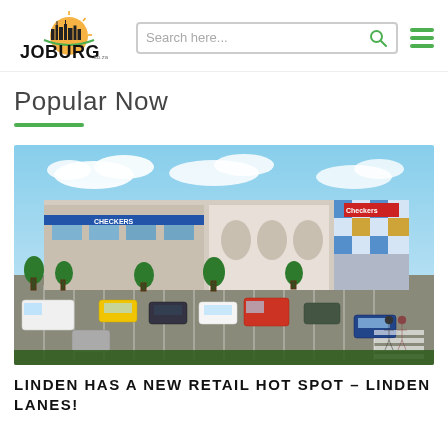[Figure (logo): Joburg.co.za logo with cityscape silhouette and sunrise graphic]
[Figure (other): Search bar with placeholder text 'Search here...' and a green magnifying glass icon]
[Figure (other): Green hamburger menu icon (three horizontal bars)]
Popular Now
[Figure (illustration): Architectural rendering of Linden Lanes retail shopping centre with parking lot full of cars, commercial storefronts including Checkers, trees, and pedestrians]
LINDEN HAS A NEW RETAIL HOT SPOT – LINDEN LANES!